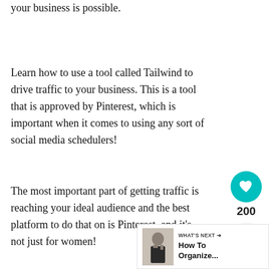your business is possible.
Learn how to use a tool called Tailwind to drive traffic to your business. This is a tool that is approved by Pinterest, which is important when it comes to using any sort of social media schedulers!
The most important part of getting traffic is reaching your ideal audience and the best platform to do that on is Pinterest, and it's not just for women!
[Figure (infographic): Social sharing sidebar widget with heart/like button showing teal circle with heart icon, count of 200, and share icon button]
[Figure (infographic): What's Next widget showing thumbnail of person in business attire and text 'WHAT'S NEXT → How To Organize...']